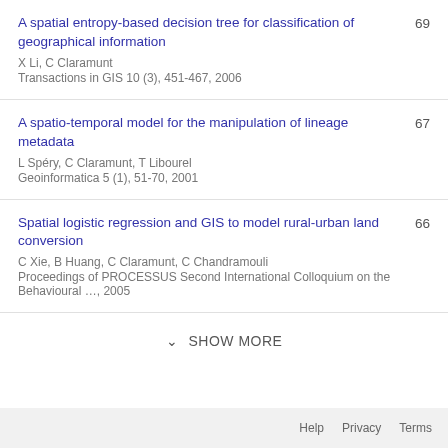A spatial entropy-based decision tree for classification of geographical information
X Li, C Claramunt
Transactions in GIS 10 (3), 451-467, 2006
69
A spatio-temporal model for the manipulation of lineage metadata
L Spéry, C Claramunt, T Libourel
Geoinformatica 5 (1), 51-70, 2001
67
Spatial logistic regression and GIS to model rural-urban land conversion
C Xie, B Huang, C Claramunt, C Chandramouli
Proceedings of PROCESSUS Second International Colloquium on the Behavioural …, 2005
66
SHOW MORE
Help   Privacy   Terms